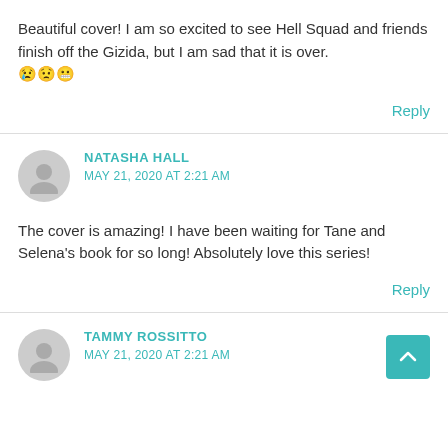Beautiful cover! I am so excited to see Hell Squad and friends finish off the Gizida, but I am sad that it is over. 😢😟😬
Reply
NATASHA HALL
MAY 21, 2020 AT 2:21 AM
The cover is amazing! I have been waiting for Tane and Selena's book for so long! Absolutely love this series!
Reply
TAMMY ROSSITTO
MAY 21, 2020 AT 2:21 AM